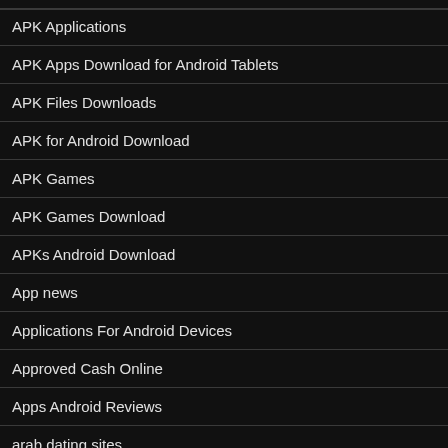APK Applications
APK Apps Download for Android Tablets
APK Files Downloads
APK for Android Download
APK Games
APK Games Download
APKs Android Download
App news
Applications For Android Devices
Approved Cash Online
Apps Android Reviews
arab dating sites